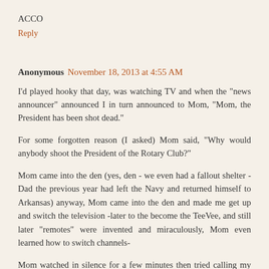ACCO
Reply
Anonymous November 18, 2013 at 4:55 AM
I'd played hooky that day, was watching TV and when the "news announcer" announced I in turn announced to Mom, "Mom, the President has been shot dead."
For some forgotten reason (I asked) Mom said, "Why would anybody shoot the President of the Rotary Club?"
Mom came into the den (yes, den - we even had a fallout shelter - Dad the previous year had left the Navy and returned himself to Arkansas) anyway, Mom came into the den and made me get up and switch the television -later to the become the TeeVee, and still later "remotes" were invented and miraculously, Mom even learned how to switch channels-
Mom watched in silence for a few minutes then tried calling my "Uncle Pete" - no relation, except that when Dad'd left Twenty-